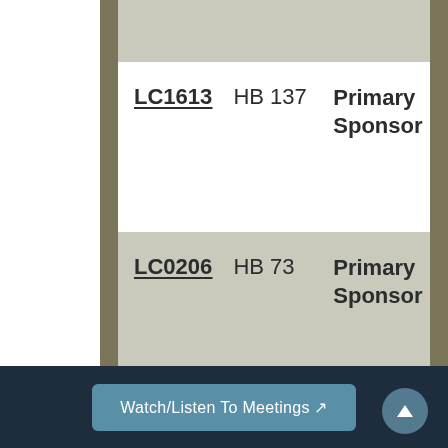|  | Bill | Role |
| --- | --- | --- |
| LC1613 | HB 137 | Primary Sponsor |
| LC0206 | HB 73 | Primary Sponsor |
Watch/Listen To Meetings